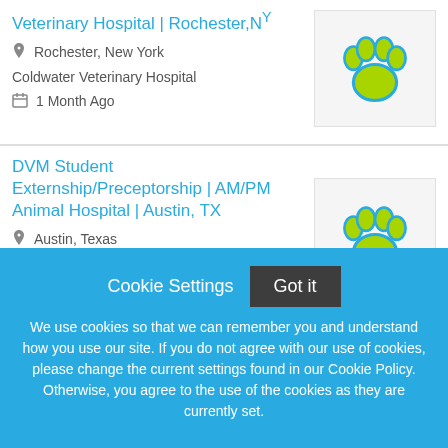Veterinary Hospital | Rochester, NY
Rochester, New York
Coldwater Veterinary Hospital
1 Month Ago
[Figure (logo): Paw print logo - teal outline with yellow-green fill on light gray background]
DVM Student Externship/Preceptorship | AM/PM Animal Hospital | Austin, TX
Austin, Texas
AM/PM Animal Hospital
[Figure (logo): Paw print logo - teal outline with yellow-green fill on light gray background]
Cookie Settings  Got it
We use cookies so that we can remember you and understand how you use our site. If you do not agree with our use of cookies, please change the current settings found in our Cookie Policy. Otherwise, you agree to the use of the cookies as they are currently set.